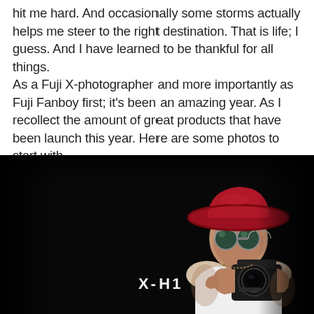hit me hard. And occasionally some storms actually helps me steer to the right destination. That is life; I guess. And I have learned to be thankful for all things.
As a Fuji X-photographer and more importantly as Fuji Fanboy first; it's been an amazing year. As I recollect the amount of great products that have been launch this year. Here are some photos to start with.
[Figure (photo): Dark studio portrait photograph of a person wearing a red wide-brim hat, round reflective sunglasses, and a white sleeveless shirt, holding a Fujifilm X-H1 camera up to their face. The text 'X-H1' appears in white on the left side of the image against a black background.]